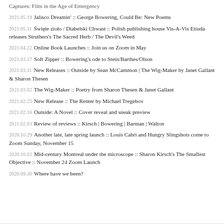Captures: Film in the Age of Emergency
2021.05.19 Jalisco Dreamin' :: George Bowering, Could Be: New Poems
2021.05.11 Święte zioło / Diabelski Chwast :: Polish publishing house Vis-A-Vis Etiuda releases Struthers's The Sacred Herb / The Devil's Weed
2021.04.22 Online Book Launches :: Join us on Zoom in May
2021.03.17 Soft Zipper :: Bowering's ode to Stein/Barthes/Olson
2021.03.11 New Releases :: Outside by Sean McCammon | The Wig-Maker by Janet Gallant & Sharon Thesen
2021.03.02 The Wig-Maker :: Poetry from Sharon Thesen & Janet Gallant
2021.02.25 New Release :: The Renter by Michael Tregebov
2021.02.16 Outside: A Novel :: Cover reveal and sneak preview
2021.02.03 Review of reviews :: Kirsch | Bowering | Barman | Walton
2020.10.29 Another late, late spring launch :: Louis Cabri and Hungry Slingshots come to Zoom Sunday, November 15
2020.10.02 Mid-century Montreal under the microscope :: Sharon Kirsch's The Smallest Objective :: November 24 Zoom Launch
2020.09.30 Where have we been?